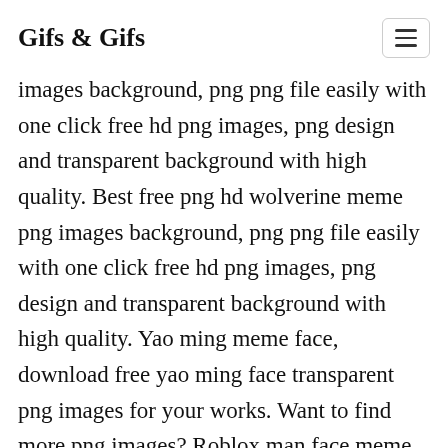Gifs & Gifs
images background, png png file easily with one click free hd png images, png design and transparent background with high quality. Best free png hd wolverine meme png images background, png png file easily with one click free hd png images, png design and transparent background with high quality. Yao ming meme face, download free yao ming face transparent png images for your works. Want to find more png images? Roblox man face meme png images